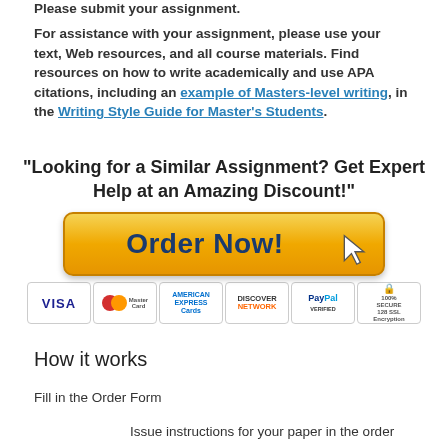Please submit your assignment.
For assistance with your assignment, please use your text, Web resources, and all course materials. Find resources on how to write academically and use APA citations, including an example of Masters-level writing, in the Writing Style Guide for Master's Students.
"Looking for a Similar Assignment? Get Expert Help at an Amazing Discount!"
[Figure (other): Orange gradient Order Now! button with cursor icon and payment logos (Visa, MasterCard, American Express, Discover, PayPal, 100% Secure 128 SSL Encryption)]
How it works
Fill in the Order Form
Issue instructions for your paper in the order